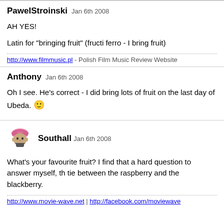PawelStroinski Jan 6th 2008
AH YES!
Latin for "bringing fruit" (fructi ferro - I bring fruit)
http://www.filmmusic.pl - Polish Film Music Review Website
Anthony Jan 6th 2008
Oh I see. He's correct - I did bring lots of fruit on the last day of Ubeda.
[Figure (illustration): Pixel art avatar of a person wearing a pink turban]
Southall Jan 6th 2008
What's your favourite fruit? I find that a hard question to answer myself, th tie between the raspberry and the blackberry.
http://www.movie-wave.net | http://facebook.com/moviewave